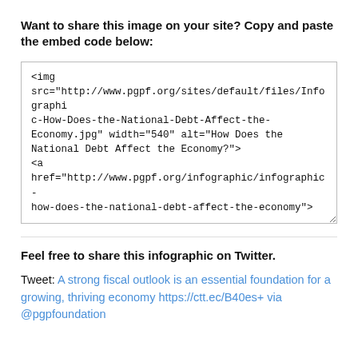Want to share this image on your site? Copy and paste the embed code below:
<img src="http://www.pgpf.org/sites/default/files/Infographic-How-Does-the-National-Debt-Affect-the-Economy.jpg" width="540" alt="How Does the National Debt Affect the Economy?">
<a href="http://www.pgpf.org/infographic/infographic-how-does-the-national-debt-affect-the-economy">
Feel free to share this infographic on Twitter.
Tweet: A strong fiscal outlook is an essential foundation for a growing, thriving economy https://ctt.ec/B40es+ via @pgpfoundation